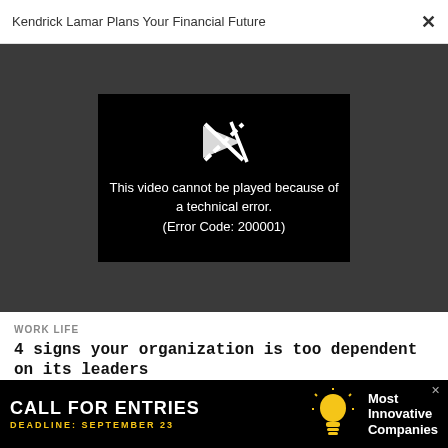Kendrick Lamar Plans Your Financial Future
[Figure (screenshot): Video player showing error: 'This video cannot be played because of a technical error. (Error Code: 200001)']
WORK LIFE
4 signs your organization is too dependent on its leaders
Advertise | Privacy Policy | Terms |
[Figure (infographic): Advertisement banner: CALL FOR ENTRIES - DEADLINE: SEPTEMBER 23 - Most Innovative Companies]